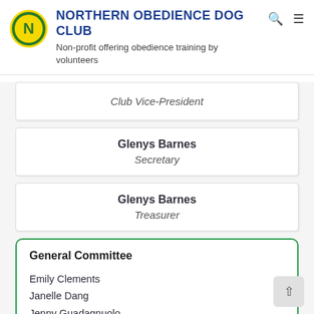NORTHERN OBEDIENCE DOG CLUB - Non-profit offering obedience training by volunteers
Club Vice-President
Glenys Barnes - Secretary
Glenys Barnes - Treasurer
General Committee
Emily Clements
Janelle Dang
Jenny Guadagnuolo
Joanne Carroll